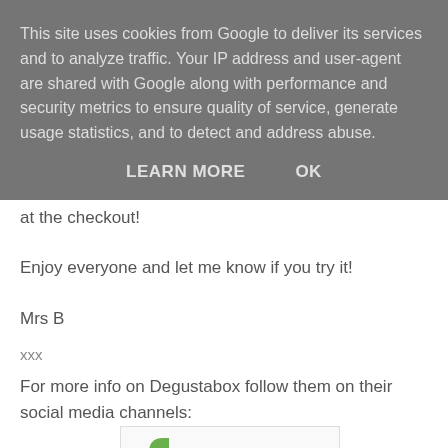This site uses cookies from Google to deliver its services and to analyze traffic. Your IP address and user-agent are shared with Google along with performance and security metrics to ensure quality of service, generate usage statistics, and to detect and address abuse.
LEARN MORE    OK
at the checkout!
Enjoy everyone and let me know if you try it!
Mrs B
xxx
For more info on Degustabox follow them on their social media channels:
[Figure (screenshot): Facebook icon (green) with @degustaboxUK handle text]